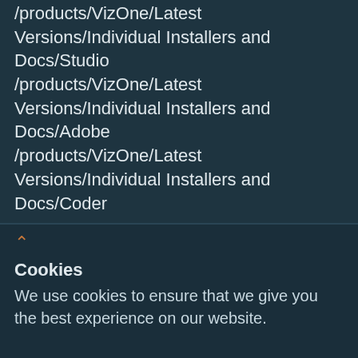/products/VizOne/Latest Versions/Individual Installers and Docs/Studio
/products/VizOne/Latest Versions/Individual Installers and Docs/Adobe
/products/VizOne/Latest Versions/Individual Installers and Docs/Coder
Cookies
We use cookies to ensure that we give you the best experience on our website.
Got it